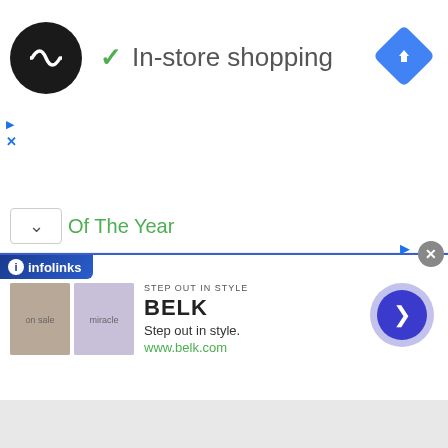[Figure (logo): Black circular logo with double arrow/infinity symbol in white]
✓ In-store shopping
[Figure (illustration): Blue diamond navigation/directions icon]
Of The Year
Fight Of The Year Candidate 2021
Fight Of The Year Contender 2019
Firuza Sharipova
Flasidus Nuno
Florante Condes
Flyweight Title Fight
Fox Sports Aus
Free Boxing
Free Boxing Stream
Froilan Saludar
[Figure (screenshot): Infolinks ad banner with Belk advertisement showing Step out in style, www.belk.com with two clothing images and a next arrow button]